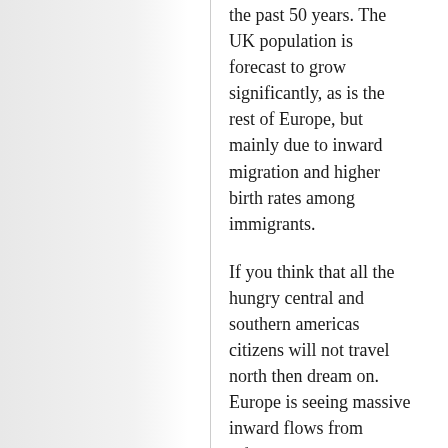the past 50 years. The UK population is forecast to grow significantly, as is the rest of Europe, but mainly due to inward migration and higher birth rates among immigrants.
If you think that all the hungry central and southern americas citizens will not travel north then dream on. Europe is seeing massive inward flows from Africa and Asia, which are virtually impossible to stop.
This problem is as big if not bigger than Peak oil (Energy). You cannot resolve resource depletion without